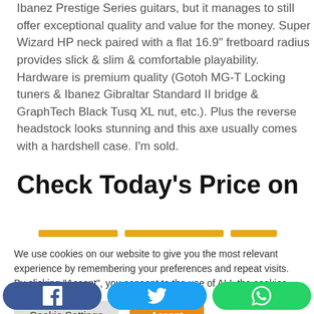Ibanez Prestige Series guitars, but it manages to still offer exceptional quality and value for the money. Super Wizard HP neck paired with a flat 16.9" fretboard radius provides slick & slim & comfortable playability. Hardware is premium quality (Gotoh MG-T Locking tuners & Ibanez Gibraltar Standard II bridge & GraphTech Black Tusq XL nut, etc.). Plus the reverse headstock looks stunning and this axe usually comes with a hardshell case. I'm sold.
Check Today's Price on
We use cookies on our website to give you the most relevant experience by remembering your preferences and repeat visits. By clicking "Accept", you consent to the use of ALL the cookies.